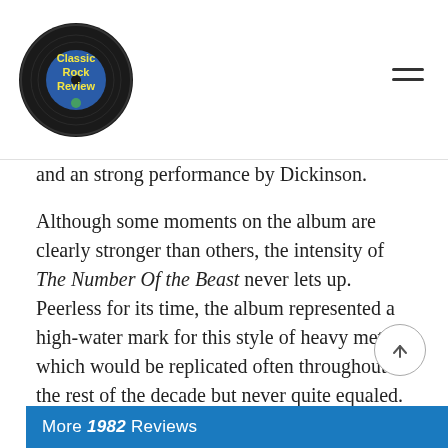Classic Rock Review
and an strong performance by Dickinson.
Although some moments on the album are clearly stronger than others, the intensity of The Number Of the Beast never lets up. Peerless for its time, the album represented a high-water mark for this style of heavy metal, which would be replicated often throughout the rest of the decade but never quite equaled.
~
Part of Classic Rock Review's celebration of 1982 albums.
[Figure (other): More 1982 Reviews banner with blue background and thumbnail images]